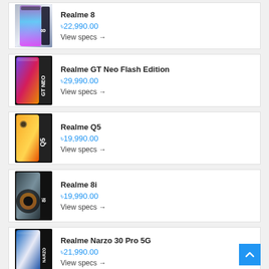Realme 8 - ৳22,990.00 - View specs →
Realme GT Neo Flash Edition - ৳29,990.00 - View specs →
Realme Q5 - ৳19,990.00 - View specs →
Realme 8i - ৳19,990.00 - View specs →
Realme Narzo 30 Pro 5G - ৳21,990.00 - View specs →